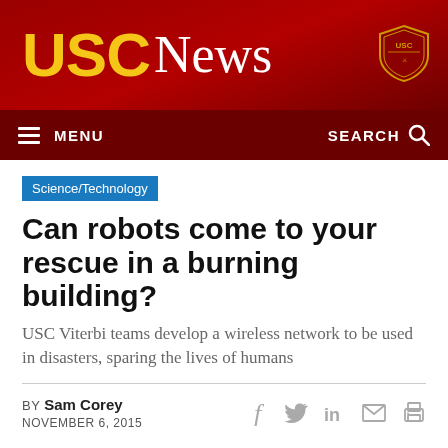USC News
MENU   SEARCH
Science/Technology
Can robots come to your rescue in a burning building?
USC Viterbi teams develop a wireless network to be used in disasters, sparing the lives of humans
BY Sam Corey
NOVEMBER 6, 2015